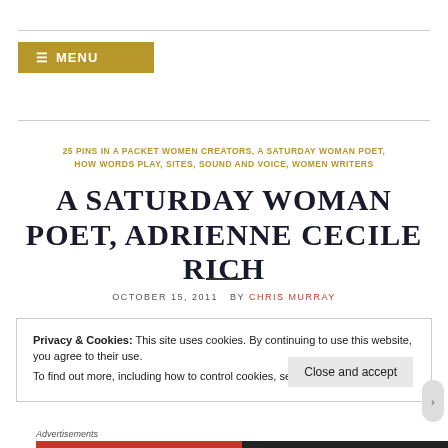MENU
25 PINS IN A PACKET WOMEN CREATORS, A SATURDAY WOMAN POET, HOW WORDS PLAY, SITES, SOUND AND VOICE, WOMEN WRITERS
A SATURDAY WOMAN POET, ADRIENNE CECILE RICH
OCTOBER 15, 2011  BY CHRIS MURRAY
Privacy & Cookies: This site uses cookies. By continuing to use this website, you agree to their use. To find out more, including how to control cookies, see here: Cookie Policy
Close and accept
Advertisements